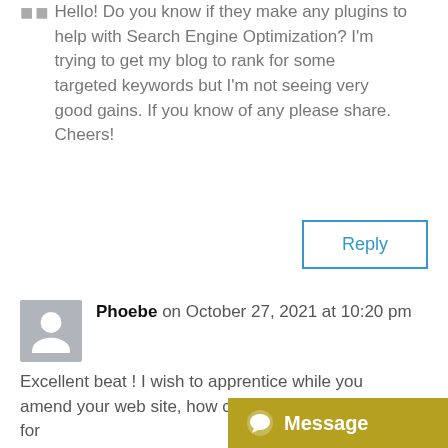Hello! Do you know if they make any plugins to help with Search Engine Optimization? I'm trying to get my blog to rank for some targeted keywords but I'm not seeing very good gains. If you know of any please share. Cheers!
Reply
Phoebe on October 27, 2021 at 10:20 pm
Excellent beat ! I wish to apprentice while you amend your web site, how could i subscribe for a blog web site? The account helped me a appropriate deal. I were tiny bit familiar of this your broadcast offered bright clear concept.
[Figure (other): Message chat widget button with gold/yellow background showing a speech bubble icon and the word 'Message' in white bold text]